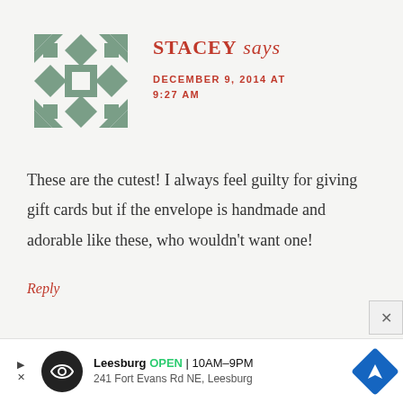[Figure (illustration): Geometric quilt-pattern avatar icon in muted sage green and white, showing a symmetrical diamond/square pattern on white background]
STACEY says
DECEMBER 9, 2014 AT 9:27 AM
These are the cutest! I always feel guilty for giving gift cards but if the envelope is handmade and adorable like these, who wouldn't want one!
Reply
[Figure (other): Advertisement banner: Leesburg store, OPEN 10AM-9PM, 241 Fort Evans Rd NE Leesburg, with circular logo and blue navigation arrow icon]